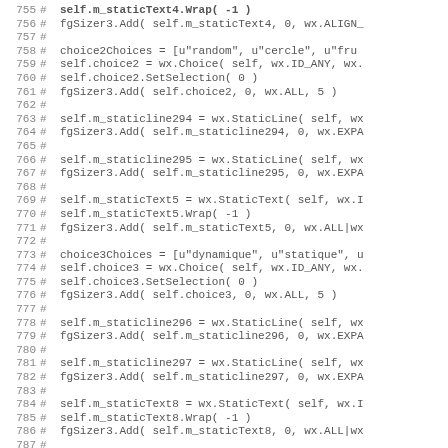Code listing lines 755-787, Python source code with commented-out wx GUI code
755 #        self.m_staticText4.Wrap( -1 )
756 #        fgSizer3.Add( self.m_staticText4, 0, wx.ALIGN_
757 #
758 #        choice2Choices = [u"random", u"cercle", u"fru
759 #        self.choice2 = wx.Choice( self, wx.ID_ANY, wx.
760 #        self.choice2.SetSelection( 0 )
761 #        fgSizer3.Add( self.choice2, 0, wx.ALL, 5 )
762 #
763 #        self.m_staticline294 = wx.StaticLine( self, wx
764 #        fgSizer3.Add( self.m_staticline294, 0, wx.EXPA
765 #
766 #        self.m_staticline295 = wx.StaticLine( self, wx
767 #        fgSizer3.Add( self.m_staticline295, 0, wx.EXPA
768 #
769 #        self.m_staticText5 = wx.StaticText( self, wx.I
770 #        self.m_staticText5.Wrap( -1 )
771 #        fgSizer3.Add( self.m_staticText5, 0, wx.ALL|wx
772 #
773 #        choice3Choices = [u"dynamique", u"statique", u
774 #        self.choice3 = wx.Choice( self, wx.ID_ANY, wx.
775 #        self.choice3.SetSelection( 0 )
776 #        fgSizer3.Add( self.choice3, 0, wx.ALL, 5 )
777 #
778 #        self.m_staticline296 = wx.StaticLine( self, wx
779 #        fgSizer3.Add( self.m_staticline296, 0, wx.EXPA
780 #
781 #        self.m_staticline297 = wx.StaticLine( self, wx
782 #        fgSizer3.Add( self.m_staticline297, 0, wx.EXPA
783 #
784 #        self.m_staticText8 = wx.StaticText( self, wx.I
785 #        self.m_staticText8.Wrap( -1 )
786 #        fgSizer3.Add( self.m_staticText8, 0, wx.ALL|wx
787 #